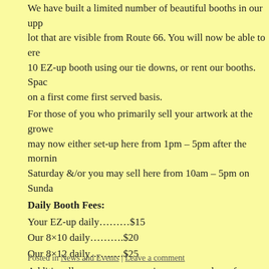We have built a limited number of beautiful booths in our upper lot that are visible from Route 66. You will now be able to erect a 10 EZ-up booth using our tie downs, or rent our booths. Space is on a first come first served basis.
For those of you who primarily sell your artwork at the growers may now either set-up here from 1pm – 5pm after the morning Saturday &/or you may sell here from 10am – 5pm on Sunday.
Daily Booth Fees:
Your EZ-up daily………$15
Our 8×10 daily……….$20
Our 8×12 daily……….$25
Additionally, we are now opening our grounds up for vendors and Friday, along with the regular Art's Market hours of 10am Saturday & Sunday.
Reserve your space early!
Posted in News and Events | Leave a comment